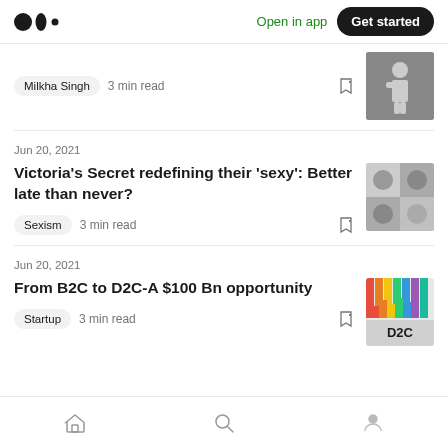Medium — Open in app — Get started
Milkha Singh · 3 min read
Jun 20, 2021
Victoria's Secret redefining their 'sexy': Better late than never?
Sexism · 3 min read
Jun 20, 2021
From B2C to D2C-A $100 Bn opportunity
Startup · 3 min read
Home · Search · Profile